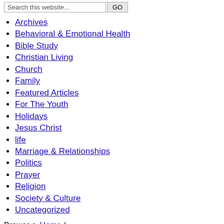Archives
Behavioral & Emotional Health
Bible Study
Christian Living
Church
Family
Featured Articles
For The Youth
Holidays
Jesus Christ
life
Marriage & Relationships
Politics
Prayer
Religion
Society & Culture
Uncategorized
Browse > Home /
Embracing the Fruit of the Spirit within your marriage